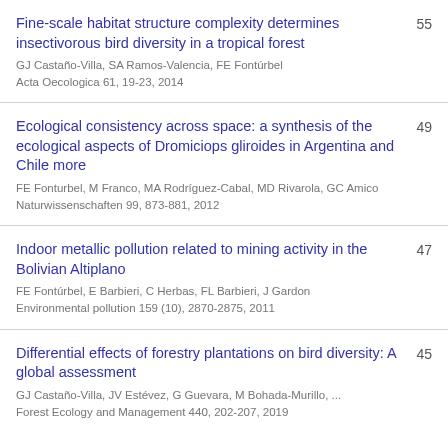Fine-scale habitat structure complexity determines insectivorous bird diversity in a tropical forest | GJ Castaño-Villa, SA Ramos-Valencia, FE Fontúrbel | Acta Oecologica 61, 19-23, 2014 | 55
Ecological consistency across space: a synthesis of the ecological aspects of Dromiciops gliroides in Argentina and Chile more | FE Fonturbel, M Franco, MA Rodríguez-Cabal, MD Rivarola, GC Amico | Naturwissenschaften 99, 873-881, 2012 | 49
Indoor metallic pollution related to mining activity in the Bolivian Altiplano | FE Fontúrbel, E Barbieri, C Herbas, FL Barbieri, J Gardon | Environmental pollution 159 (10), 2870-2875, 2011 | 47
Differential effects of forestry plantations on bird diversity: A global assessment | GJ Castaño-Villa, JV Estévez, G Guevara, M Bohada-Murillo, ... | Forest Ecology and Management 440, 202-207, 2019 | 45